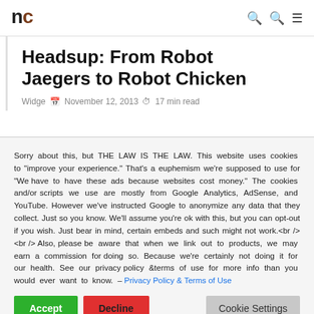nc
Headsup: From Robot Jaegers to Robot Chicken
Widge  November 12, 2013  17 min read
Sorry about this, but THE LAW IS THE LAW. This website uses cookies to "improve your experience." That's a euphemism we're supposed to use for "We have to have these ads because websites cost money." The cookies and/or scripts we use are mostly from Google Analytics, AdSense, and YouTube. However we've instructed Google to anonymize any data that they collect. Just so you know. We'll assume you're ok with this, but you can opt-out if you wish. Just bear in mind, certain embeds and such might not work.<br /> <br /> Also, please be aware that when we link out to products, we may earn a commission for doing so. Because we're certainly not doing it for our health. See our privacy policy & terms of use for more info than you would ever want to know. - Privacy Policy & Terms of Use